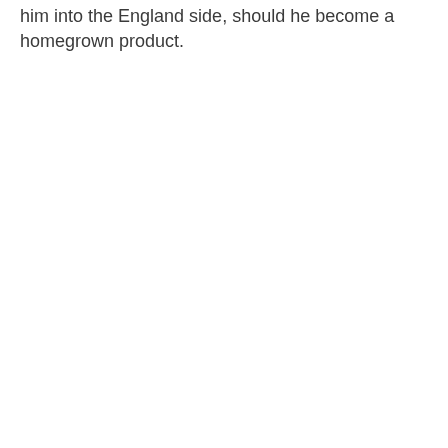him into the England side, should he become a homegrown product.